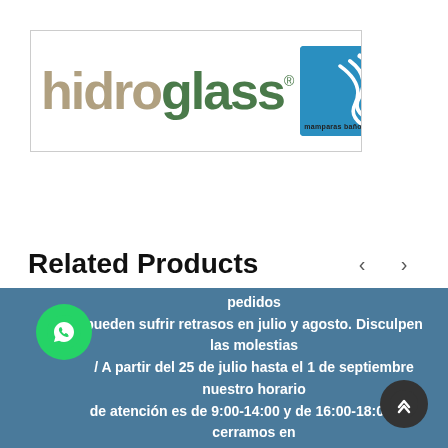[Figure (logo): Hidroglass logo — 'hidro' in grey/tan bold letters, 'glass' in dark green bold letters with registered trademark symbol, blue box with wave graphic on the right, tagline 'mamparas baño/ducha' below]
Related Products
Debido al periodo vacacional de los fabricantes los pedidos pueden sufrir retrasos en julio y agosto. Disculpen las molestias / A partir del 25 de julio hasta el 1 de septiembre nuestro horario de atención es de 9:00-14:00 y de 16:00-18:00. No cerramos en agosto.